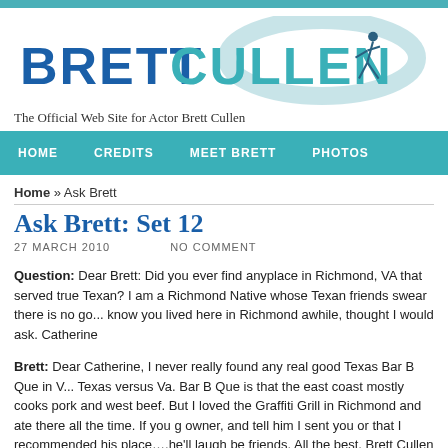[Figure (logo): Brett Cullen official website logo with text BRETT CULLEN and a surfer figure silhouette inside an oval swoosh]
The Official Web Site for Actor Brett Cullen
HOME  CREDITS  MEET BRETT  PHOTOS
Home » Ask Brett
Ask Brett: Set 12
27 MARCH 2010    NO COMMENT
Question: Dear Brett: Did you ever find anyplace in Richmond, VA that served true Texan? I am a Richmond Native whose Texan friends swear there is no go... know you lived here in Richmond awhile, thought I would ask. Catherine
Brett: Dear Catherine, I never really found any real good Texas Bar B Que in V... Texas versus Va. Bar B Que is that the east coast mostly cooks pork and west beef. But I loved the Graffiti Grill in Richmond and ate there all the time. If you g owner, and tell him I sent you or that I recommended his place….he'll laugh be friends. All the best, Brett Cullen
Question: Hello Brett – Were you aware that you used a "John Wayne Swagg...